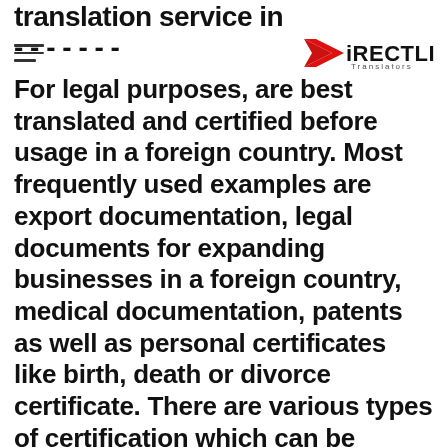translation service in...
For legal purposes, are best translated and certified before usage in a foreign country. Most frequently used examples are export documentation, legal documents for expanding businesses in a foreign country, medical documentation, patents as well as personal certificates like birth, death or divorce certificate. There are various types of certification which can be explained in detail by our team, in order for us to provide the most suitable certification service for your needs.